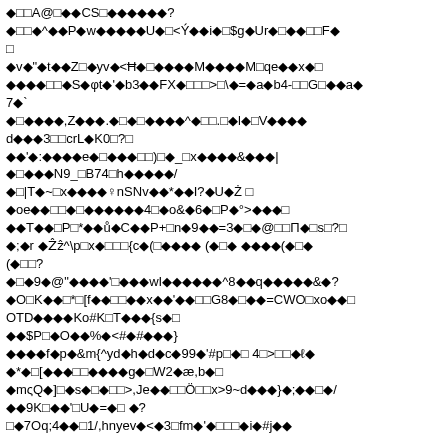◆□□A@□◆◆CS□◆◆◆◆◆◆? ◆□□◆^◆◆P◆w◆◆◆◆◆U◆□<Ý◆◆i◆□$g◆Ur◆□◆◆□□F◆ □ ◆v◆"◆t◆◆Z□◆yv◆<Ħ◆□◆◆◆◆M◆◆◆◆M□qe◆◆x◆□ ◆◆◆◆□□◆S◆φt◆'◆b3◆◆FX◆□□□>□\◆=◆a◆b4-□□G□◆◆a◆ 7◆` ◆□◆◆◆◆,Z◆◆◆. ◆□◆□◆◆◆◆^◆□□.□◆l◆□V◆◆◆◆ d◆◆◆3□□crL◆K0□?□ ◆◆'◆:◆◆◆◆e◆□◆◆◆□□)□◆_□x◆◆◆◆&◆◆◆| ◆□◆◆◆N9_□B74□h◆◆◆◆◆/ ◆□|T◆~□x◆◆◆◆♀nSNv◆◆*◆◆I?◆U◆Ż □ ◆oe◆◆□□◆□◆◆◆◆◆◆4□◆o&◆6◆□P◆°>◆◆◆□ ◆◆T◆◆□P□*◆◆ů◆C◆◆P+□n◆9◆◆=3◆□◆@□□Π◆□s□?□ ◆;◆r ◆Ẑẑ^\p□x◆□□□{c◆(□◆◆◆◆ (◆□◆ ◆◆◆◆(◆□◆ (◆□□? ◆□◆9◆@"◆◆◆◆'□◆◆◆wI◆◆◆◆◆◆^8◆◆q◆◆◆◆◆&◆? ◆O□K◆◆□*□[f◆◆□□◆◆x◆◆'◆◆□□G8◆□◆◆=CWO□xo◆◆□ OTD◆◆◆◆Ko#K□T◆◆◆{s◆□ ◆◆$P□◆O◆◆%◆<#◆#◆◆◆} ◆◆◆◆f◆p◆&m{^yd◆h◆d◆c◆99◆'#p□◆□ 4□>□□◆ℓ◆ ◆*◆□[◆◆◆□□◆◆◆◆g◆□W2◆æ,b◆□ ◆mςQ◆]□◆s◆□◆□□>,Je◆◆□□Ö□□x>9~d◆◆◆}◆;◆◆□◆/ ◆◆9K□◆◆'□U◆=◆□ ◆? □◆7Oq;4◆◆□1/,hnyev◆<◆3□fm◆'◆□□□◆i◆#j◆◆